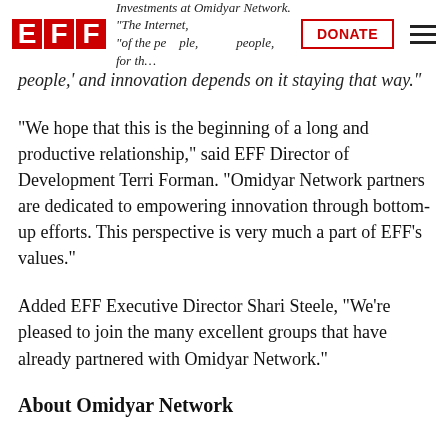EFF | Investments at Omidyar Network. "The Internet, 'of the people, by the people, for the people,' and innovation depends on it staying that way." [DONATE] [menu]
"We hope that this is the beginning of a long and productive relationship," said EFF Director of Development Terri Forman. "Omidyar Network partners are dedicated to empowering innovation through bottom-up efforts. This perspective is very much a part of EFF's values."
Added EFF Executive Director Shari Steele, "We're pleased to join the many excellent groups that have already partnered with Omidyar Network."
About Omidyar Network